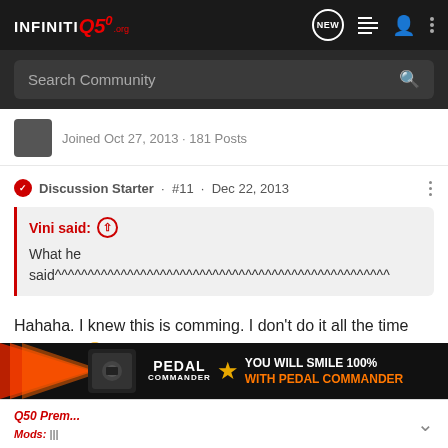INFINITI Q50 .org — navigation bar with NEW, list, user, and menu icons
Search Community
Joined Oct 27, 2013 · 181 Posts
Discussion Starter · #11 · Dec 22, 2013
Vini said: ↑
What he said^^^^^^^^^^^^^^^^^^^^^^^^^^^^^^^^^^^^^^^^^^^^^^^^^^^
Hahaha. I knew this is comming. I don't do it all the time but often. 🙂
Q50 Prem... | Mods: ||| — PEDAL COMMANDER: YOU WILL SMILE 100% WITH PEDAL COMMANDER